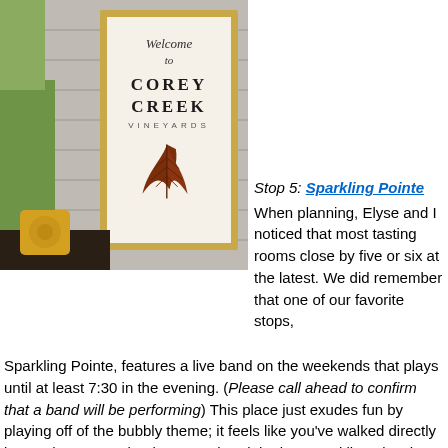[Figure (photo): Photo of the Corey Creek Vineyards welcome sign on a wooden building. The sign reads 'Welcome to COREY CREEK VINEYARDS' with a decorative leaf motif. A yellow patterned pillow is visible on a bench to the left, and green fields are visible in the background.]
Stop 5: Sparkling Pointe
When planning, Elyse and I noticed that most tasting rooms close by five or six at the latest. We did remember that one of our favorite stops, Sparkling Pointe, features a live band on the weekends that plays until at least 7:30 in the evening. (Please call ahead to confirm that a band will be performing) This place just exudes fun by playing off of the bubbly theme; it feels like you've walked directly into a champagne bottle. We ordered the brut sparkling plus the vintage 2005 and walked out to the grassy area. Plenty of umbrellas and stylish outdoor seating awaited us. I was hoping we could freeze this moment in time because it felt so perfect. The boys ventured